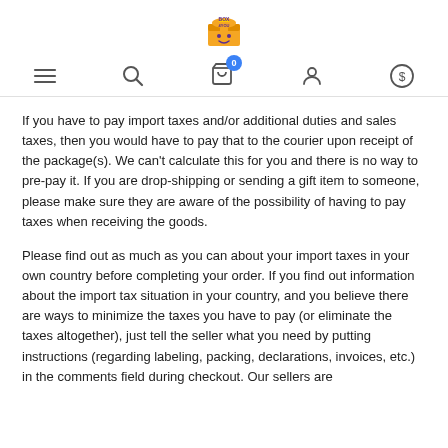[Logo: BOX4YOU] [Nav icons: hamburger menu, search, cart (0), user, currency]
If you have to pay import taxes and/or additional duties and sales taxes, then you would have to pay that to the courier upon receipt of the package(s). We can't calculate this for you and there is no way to pre-pay it. If you are drop-shipping or sending a gift item to someone, please make sure they are aware of the possibility of having to pay taxes when receiving the goods.
Please find out as much as you can about your import taxes in your own country before completing your order. If you find out information about the import tax situation in your country, and you believe there are ways to minimize the taxes you have to pay (or eliminate the taxes altogether), just tell the seller what you need by putting instructions (regarding labeling, packing, declarations, invoices, etc.) in the comments field during checkout. Our sellers are